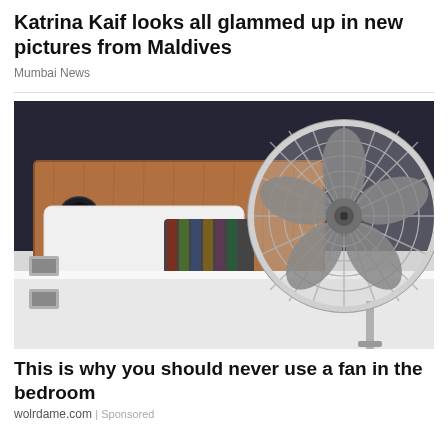Katrina Kaif looks all glammed up in new pictures from Maldives
Mumbai News
[Figure (photo): A silver metallic pedestal fan placed in front of a hotel bedroom with a wooden headboard, white bedding, a striped pillow, and dark walls with wall-mounted reading lamps.]
This is why you should never use a fan in the bedroom
wolrdame.com | Sponsored